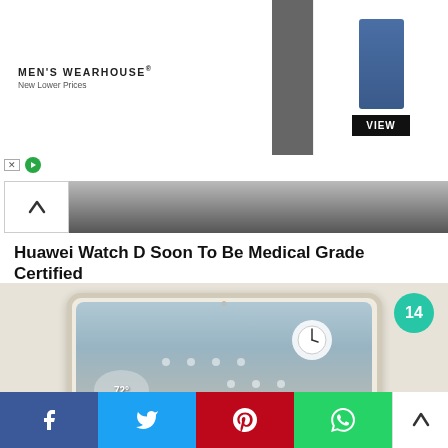[Figure (photo): Men's Wearhouse advertisement banner showing a couple in wedding attire and a man in a blue suit with a 'VIEW' button]
[Figure (photo): Partial image of a person in dark clothing, partially visible behind an up-arrow navigation button]
Huawei Watch D Soon To Be Medical Grade Certified
[Figure (photo): Article image showing a tablet device (Huawei) with a smart home UI on a beige background, with a teal badge showing '14']
Leak Time: A heap of info on the Pixel Tablet has been uncovered
[Figure (infographic): Social sharing bar with Facebook, Twitter, Pinterest, WhatsApp icons and an up arrow]